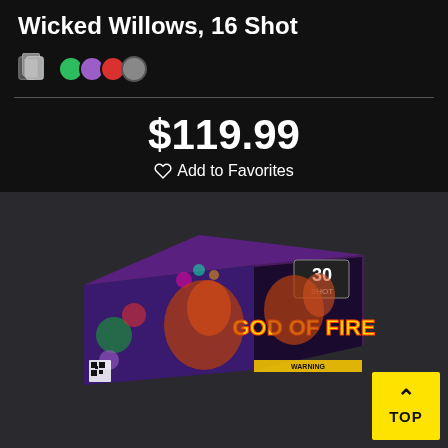Wicked Willows, 16 Shot
$119.99
Add to Favorites
[Figure (photo): Product photo of a fireworks box labeled 'God of Fire, 30 Shot' with colorful dragon and fireworks artwork, displayed at an angle on a dark background.]